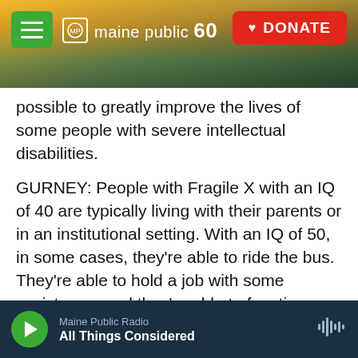[Figure (screenshot): Maine Public 60th anniversary website header banner with sunset/landscape photo, green hamburger menu button, Maine Public 60 logo, and red DONATE button]
possible to greatly improve the lives of some people with severe intellectual disabilities.
GURNEY: People with Fragile X with an IQ of 40 are typically living with their parents or in an institutional setting. With an IQ of 50, in some cases, they're able to ride the bus. They're able to hold a job with some assistance, and they're able to function better in their community.
HAMILTON: The apparent success comes seven years after two other promising drugs for Fragile X did not pan out when tested in people. Katie Clapp
Maine Public Radio
All Things Considered